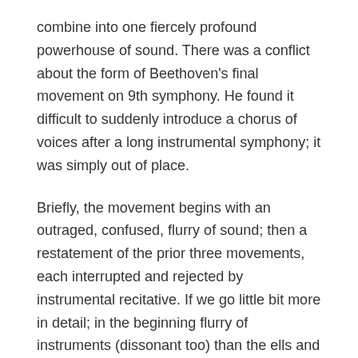combine into one fiercely profound powerhouse of sound. There was a conflict about the form of Beethoven's final movement on 9th symphony. He found it difficult to suddenly introduce a chorus of voices after a long instrumental symphony; it was simply out of place.
Briefly, the movement begins with an outraged, confused, flurry of sound; then a restatement of the prior three movements, each interrupted and rejected by instrumental recitative. If we go little bit more in detail; in the beginning flurry of instruments (dissonant too) than the ells and basses play dramatic recitative.It follows themes from the three prior movements' plays but quickly basses and cellos interrupts. Now, new theme begins but hesitant. Again, minor protest from the bases and cellos. Other instruments Join in, which lead to a triumphant statement of the theme in D Major. Beethoven replays the opening of the finale.
This time, though, the human voice replaces the cello and basses.